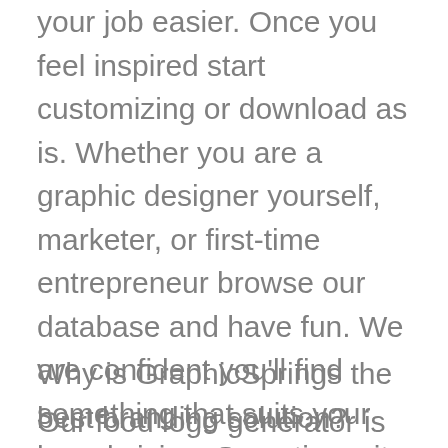your job easier. Once you feel inspired start customizing or download as is. Whether you are a graphic designer yourself, marketer, or first-time entrepreneur browse our database and have fun. We are confident you'll find something that suits your brand vision. Sometimes it takes a while for inspiration to strike. If you can't find a design that you instantly connect with, try again tomorrow or the day after. A final tip, small modifications can sometimes take a design from good to great. Try customizing your favorite designs and you might just land on the perfect concept.
Why is GraphicSprings the best branding solution?
Our food logo generator is one of the original do-it-